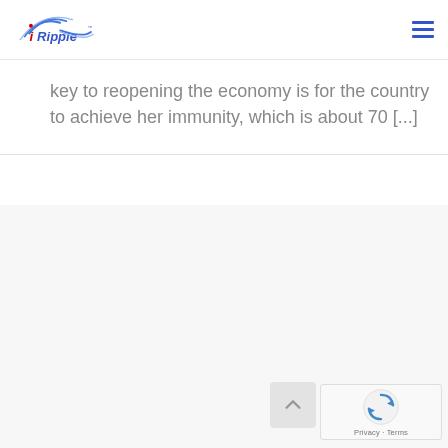iRipple
key to reopening the economy is for the country to achieve her immunity, which is about 70 [...]